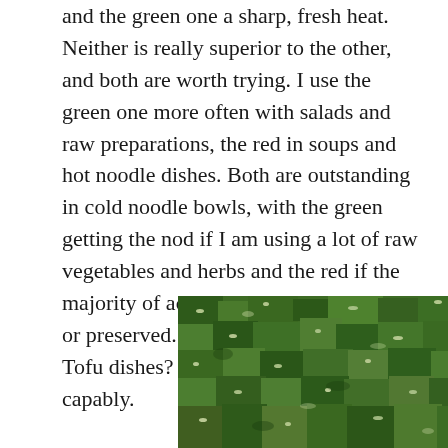and the green one a sharp, fresh heat. Neither is really superior to the other, and both are worth trying. I use the green one more often with salads and raw preparations, the red in soups and hot noodle dishes. Both are outstanding in cold noodle bowls, with the green getting the nod if I am using a lot of raw vegetables and herbs and the red if the majority of accompaniments are pickled or preserved. Fish? Green. Pork? Red. Tofu dishes? Both harmonize quite capably.
[Figure (photo): Close-up photograph of chopped green chili peppers with seeds, glistening and finely chopped, filling the frame.]